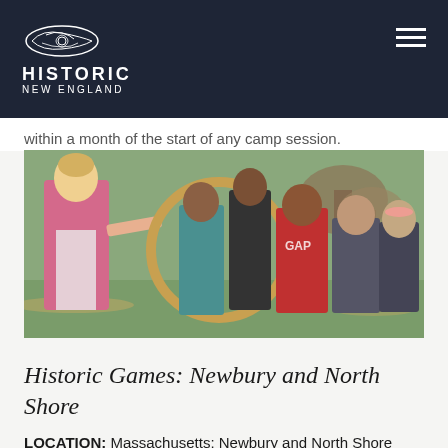Historic New England
within a month of the start of any camp session.
[Figure (photo): A woman in historical costume (pink dress, white apron) holding a large wooden hoop, speaking to a group of children of various ages outdoors in a park or garden setting with fall foliage.]
Historic Games: Newbury and North Shore
LOCATION: Massachusetts: Newbury and North Shore
GRADES: Grades 3-5, Middle School, Preschool –